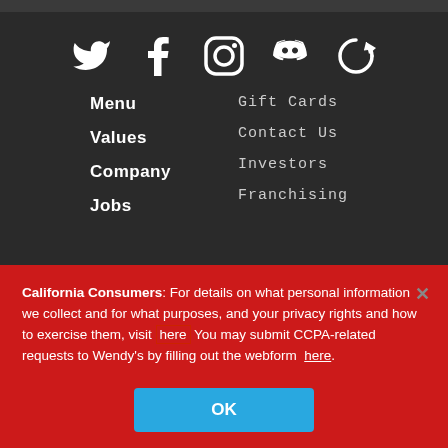[Figure (infographic): Social media icons row: Twitter, Facebook, Instagram, Discord, and a circular reload/redeem icon, all white on dark background]
Menu
Gift Cards
Values
Contact Us
Company
Investors
Jobs
Franchising
California Consumers: For details on what personal information we collect and for what purposes, and your privacy rights and how to exercise them, visit here You may submit CCPA-related requests to Wendy's by filling out the webform here.